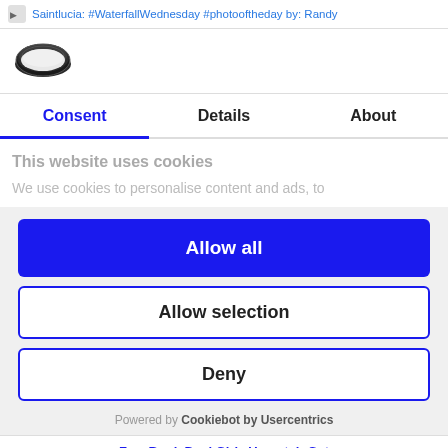Saintlucia: #WaterfallWednesday #photooftheday by: Randy
[Figure (logo): Cookiebot logo — dark oval cookie shape]
Consent | Details | About
This website uses cookies
We use cookies to personalise content and ads, to
Allow all
Allow selection
Deny
Powered by Cookiebot by Usercentrics
FaceBook Desi Girlz  Unmatch  Get